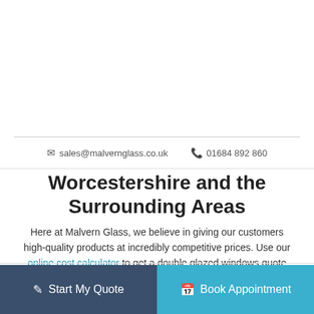✉ sales@malvernglass.co.uk   📞 01684 892 860
Worcestershire and the Surrounding Areas
Here at Malvern Glass, we believe in giving our customers high-quality products at incredibly competitive prices. Use our online cost calculator to get a double glazed windows quote tailored to your specifications.
Alternatively, you can fill out our online contact form and leave us a message. One of our helpful and friendly team members will get back to you as soon as possible.
Start My Quote   Book Appointment